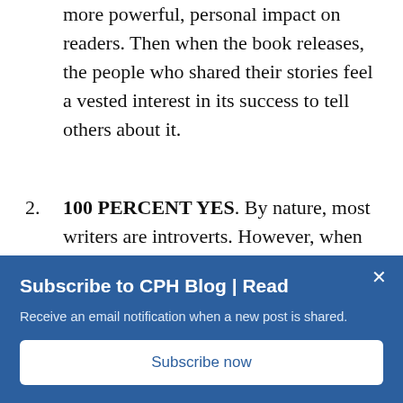more powerful, personal impact on readers. Then when the book releases, the people who shared their stories feel a vested interest in its success to tell others about it.
2. 100 PERCENT YES. By nature, most writers are introverts. However, when we interact more with people, those experiences inform future writing perspectives and topics. Also, a speaker benefits from instant feedback regarding a given topic. You can
[Figure (screenshot): Subscribe to CPH Blog overlay banner with title 'Subscribe to CPH Blog | Read', description 'Receive an email notification when a new post is shared.', and a 'Subscribe now' button. Close (x) button in top right.]